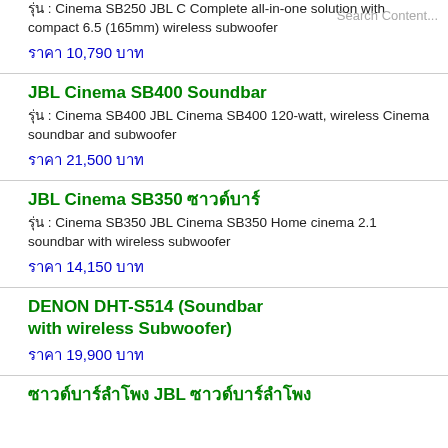Soundbar — รุ่น : Cinema SB250 JBL Cinema SB250 Complete all-in-one solution with compact 6.5 (165mm) wireless subwoofer — ราคา 10,790 บาท
JBL Cinema SB400 Soundbar — รุ่น : Cinema SB400 JBL Cinema SB400 120-watt, wireless Cinema soundbar and subwoofer — ราคา 21,500 บาท
JBL Cinema SB350 ซาวด์บาร์ — รุ่น : Cinema SB350 JBL Cinema SB350 Home cinema 2.1 soundbar with wireless subwoofer — ราคา 14,150 บาท
DENON DHT-S514 (Soundbar with wireless Subwoofer) — ราคา 19,900 บาท
ซาวด์บาร์ลำโพง JBL ซาวด์บาร์ลำโพง